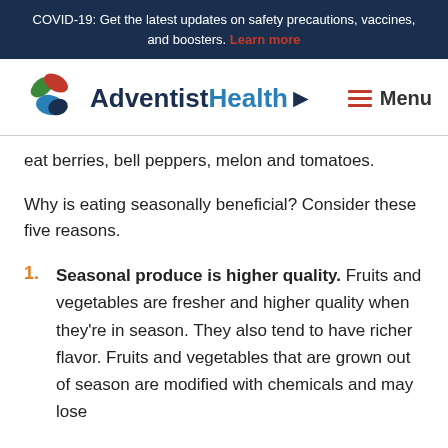COVID-19: Get the latest updates on safety precautions, vaccines, and boosters. Learn more
[Figure (logo): Adventist Health logo with colorful leaf icon and blue text]
eat berries, bell peppers, melon and tomatoes.
Why is eating seasonally beneficial? Consider these five reasons.
Seasonal produce is higher quality. Fruits and vegetables are fresher and higher quality when they're in season. They also tend to have richer flavor. Fruits and vegetables that are grown out of season are modified with chemicals and may lose